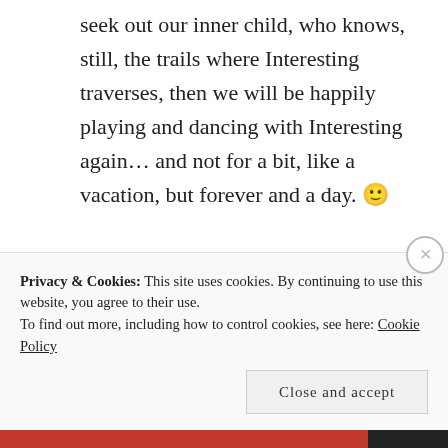seek out our inner child, who knows, still, the trails where Interesting traverses, then we will be happily playing and dancing with Interesting again… and not for a bit, like a vacation, but forever and a day. 🙂
⭐ Liked by 1 person
APRIL 23, 2015 AT 4:36 PM LOG IN TO REPLY
Privacy & Cookies: This site uses cookies. By continuing to use this website, you agree to their use.
To find out more, including how to control cookies, see here: Cookie Policy
Close and accept